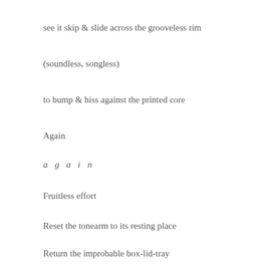see it skip & slide across the grooveless rim
(soundless, songless)
to bump & hiss against the printed core
Again
a g a i n
Fruitless effort
Reset the tonearm to its resting place
Return the improbable box-lid-tray